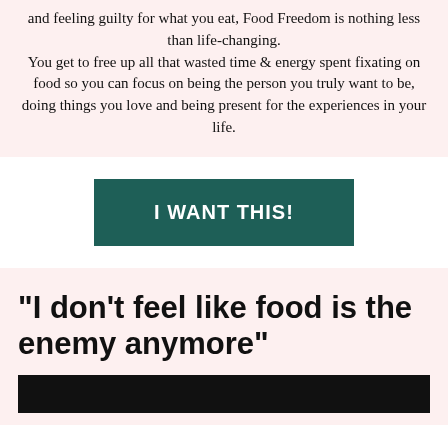and feeling guilty for what you eat, Food Freedom is nothing less than life-changing. You get to free up all that wasted time & energy spent fixating on food so you can focus on being the person you truly want to be, doing things you love and being present for the experiences in your life.
I WANT THIS!
"I don't feel like food is the enemy anymore"
[Figure (photo): Black rectangular image area at the bottom of the page]